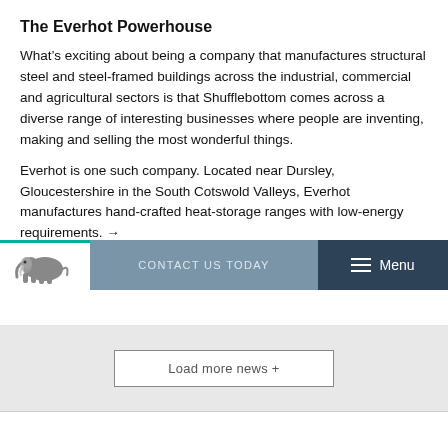The Everhot Powerhouse
What’s exciting about being a company that manufactures structural steel and steel-framed buildings across the industrial, commercial and agricultural sectors is that Shufflebottom comes across a diverse range of interesting businesses where people are inventing, making and selling the most wonderful things.
Everhot is one such company. Located near Dursley, Gloucestershire in the South Cotswold Valleys, Everhot manufactures hand-crafted heat-storage ranges with low-energy requirements. →
Posted, May 26, 2022
Load more news +
CONTACT US TODAY   Menu